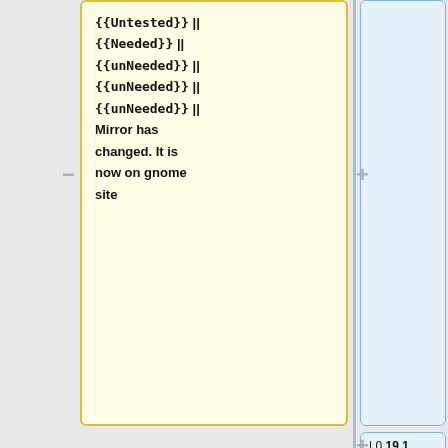{{Untested}} || {{Needed}} || {{unNeeded}} || {{unNeeded}} || {{unNeeded}} || Mirror has changed. It is now on gnome site
| 0.19.1
| {{up-to-date}}
| {{Needed}}
| {{Needed}}
| {{Needed}}
| {{unNeeded}}
| [http://ftp.gnu.org/gnu/gettext/